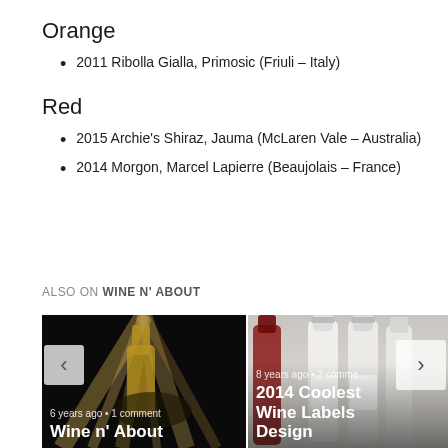Orange
2011 Ribolla Gialla, Primosic (Friuli – Italy)
Red
2015 Archie's Shiraz, Jauma (McLaren Vale – Australia)
2014 Morgon, Marcel Lapierre (Beaujolais – France)
ALSO ON WINE N' ABOUT
[Figure (photo): Dark background photo of wine being poured, with light rays effect. Card shows '6 years ago • 1 comment' and title 'Wine n' About']
[Figure (photo): Photo of white wine bottles against grey gradient background. Card shows '8 years ago • 2 comments' and title '2014 Coolest Wine Labels Design']